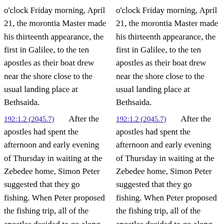o'clock Friday morning, April 21, the morontia Master made his thirteenth appearance, the first in Galilee, to the ten apostles as their boat drew near the shore close to the usual landing place at Bethsaida.
192:1.2 (2045.7)   After the apostles had spent the afternoon and early evening of Thursday in waiting at the Zebedee home, Simon Peter suggested that they go fishing. When Peter proposed the fishing trip, all of the apostles decided to go along. All night they toiled with the nets but
o'clock Friday morning, April 21, the morontia Master made his thirteenth appearance, the first in Galilee, to the ten apostles as their boat drew near the shore close to the usual landing place at Bethsaida.
192:1.2 (2045.7)   After the apostles had spent the afternoon and early evening of Thursday in waiting at the Zebedee home, Simon Peter suggested that they go fishing. When Peter proposed the fishing trip, all of the apostles decided to go along. All night they toiled with the nets but